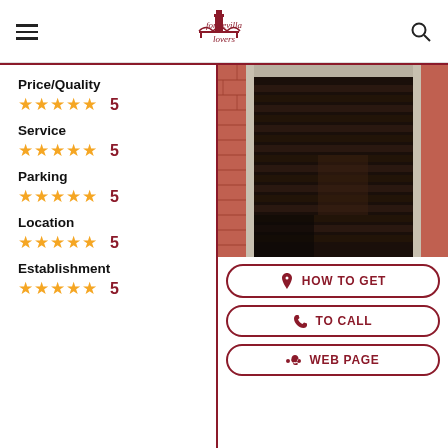for sevilla lovers
Price/Quality ★★★★★ 5
Service ★★★★★ 5
Parking ★★★★★ 5
Location ★★★★★ 5
Establishment ★★★★★ 5
[Figure (photo): Photo of a dark ornate wooden/metal door set in a brick archway facade]
HOW TO GET
TO CALL
WEB PAGE